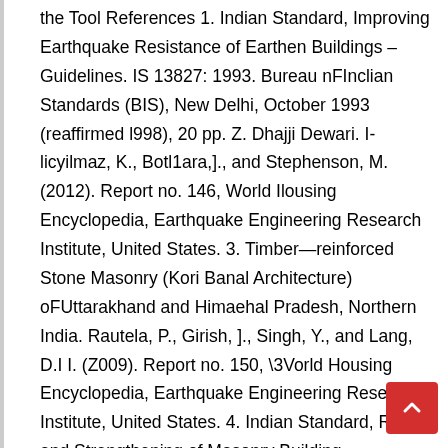the Tool References 1. Indian Standard, Improving Earthquake Resistance of Earthen Buildings – Guidelines. IS 13827: 1993. Bureau nFInclian Standards (BIS), New Delhi, October 1993 (reaffirmed l998), 20 pp. Z. Dhajji Dewari. I-licyilmaz, K., Botl1ara,]., and Stephenson, M. (2012). Report no. 146, World Ilousing Encyclopedia, Earthquake Engineering Research Institute, United States. 3. Timber—reinforced Stone Masonry (Kori Banal Architecture) oFUttarakhand and Himaehal Pradesh, Northern India. Rautela, P., Girish, ]., Singh, Y., and Lang, D.I I. (Z009). Report no. 150, \3Vorld Housing Encyclopedia, Earthquake Engineering Research Institute, United States. 4. Indian Standard, Repair and Strengthening of Masonry Building — Guidelines. IS 13935 : 7009. Bureau ofIndian